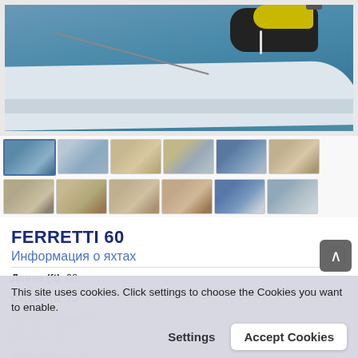[Figure (photo): Main photo of a Ferretti 60 yacht with a jet ski on the stern deck, water visible below, white hull]
[Figure (photo): Thumbnail gallery row 1: 6 yacht interior and exterior photos]
[Figure (photo): Thumbnail gallery row 2: 6 yacht interior and exterior photos]
FERRETTI 60
Информация о яхтах
Длина (ft): 60
Скорость: 25
Кол-во гостей: 6
Экипаж: 2
Кол-во кают: 3
Потребление топлива (lt./hr.):
Год строительства: 1999/2016
This site uses cookies. Click settings to choose the Cookies you want to enable.